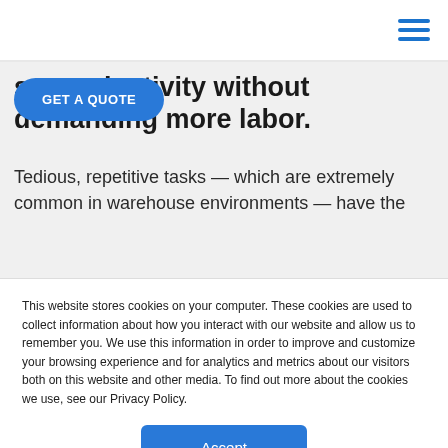se productivity without demanding more labor.
GET A QUOTE
Tedious, repetitive tasks — which are extremely common in warehouse environments — have the
This website stores cookies on your computer. These cookies are used to collect information about how you interact with our website and allow us to remember you. We use this information in order to improve and customize your browsing experience and for analytics and metrics about our visitors both on this website and other media. To find out more about the cookies we use, see our Privacy Policy.
Accept